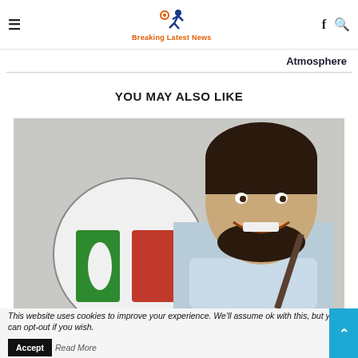Breaking Latest News
Atmosphere
YOU MAY ALSO LIKE
[Figure (photo): A smiling young man with a beard standing in front of a Partito Democratico (PD) party logo, wearing a light blue shirt with a bag strap over his shoulder.]
This website uses cookies to improve your experience. We'll assume ok with this, but you can opt-out if you wish. Accept Read More